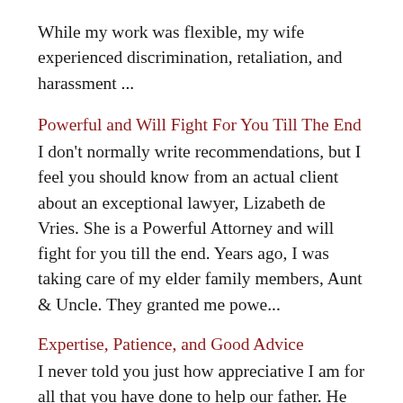While my work was flexible, my wife experienced discrimination, retaliation, and harassment ...
Powerful and Will Fight For You Till The End
I don't normally write recommendations, but I feel you should know from an actual client about an exceptional lawyer, Lizabeth de Vries. She is a Powerful Attorney and will fight for you till the end. Years ago, I was taking care of my elder family members, Aunt & Uncle. They granted me powe...
Expertise, Patience, and Good Advice
I never told you just how appreciative I am for all that you have done to help our father. He will be entering a wonderful memory care residence which was only possible with your help. He will get to spend the rest of his life being well taken care of and making new friendships, and for that we a...